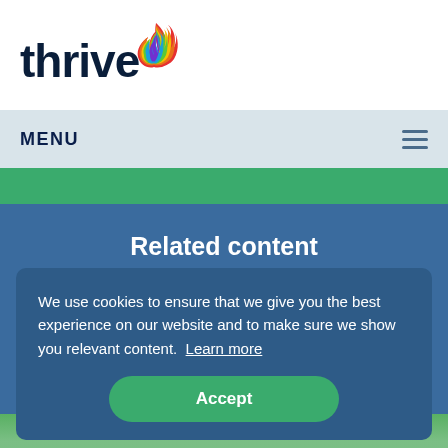thrive (logo)
MENU
Related content
We use cookies to ensure that we give you the best experience on our website and to make sure we show you relevant content.  Learn more
Accept